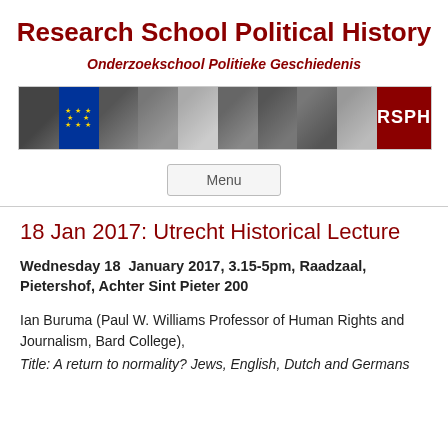Research School Political History
Onderzoekschool Politieke Geschiedenis
[Figure (illustration): Banner image showing collage of historical photographs and European Union flag, with RSPH logo on dark red background at right]
Menu
18 Jan 2017: Utrecht Historical Lecture
Wednesday 18  January 2017, 3.15-5pm, Raadzaal, Pietershof, Achter Sint Pieter 200
Ian Buruma (Paul W. Williams Professor of Human Rights and Journalism, Bard College),
Title: A return to normality? Jews, English, Dutch and Germans